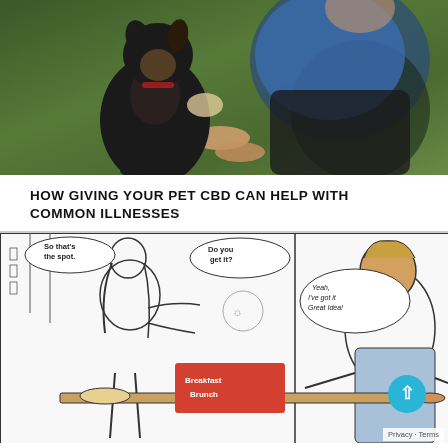[Figure (photo): A black and white dog sitting up on hind legs, pawing at a person crouching outdoors. The person is wearing a blue patterned top and black pants, with hands outstretched. Green outdoor background.]
HOW GIVING YOUR PET CBD CAN HELP WITH COMMON ILLNESSES
[Figure (illustration): A comic-style illustration showing a woman with long hair talking to a man at what appears to be a breakfast brunch setting. Speech bubbles read: 'So that's the spot.', 'Do you get it?', 'Yeah, I've got it Great Idea!' A sign reading 'Breakfast Brunch' is visible. A scroll-to-top button with an upward arrow is overlaid in the bottom-right corner along with a 'Privacy · Terms' label.]